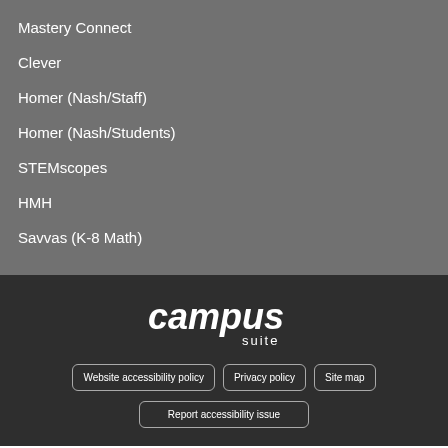Mastery Connect
Clever
Homer (Nash/Staff)
Homer (Nash/Students)
STEMscopes
HMH
Savvas (K-8 Math)
[Figure (logo): Campus Suite logo in white italic text with 'suite' beneath in smaller letters]
Website accessibility policy
Privacy policy
Site map
Report accessibility issue